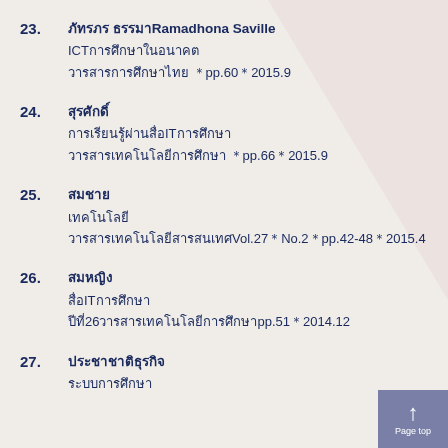23. ภัทรภร ธรรมาRamadhona Saville ICTการศึกษาในอนาคต วารสารการศึกษาไทย pp.60 2015.9
24. สุรศักดิ์ ภัทรภร การเรียนรู้ผ่านสื่อIT การศึกษา วารสารเทคโนโลยีการศึกษา pp.66 2015.9
25. สมชาย เทคโนโลยี วารสารเทคโนโลยีสารสนเทศ Vol.27 No.2 pp.42-48 2015.4
26. สมหญิง สื่อIT การศึกษา วารสาร ปีที่26 วารสารเทคโนโลยีการศึกษา pp.51 2014.12
27. ประชาชาติธุรกิจ ระบบการศึกษา